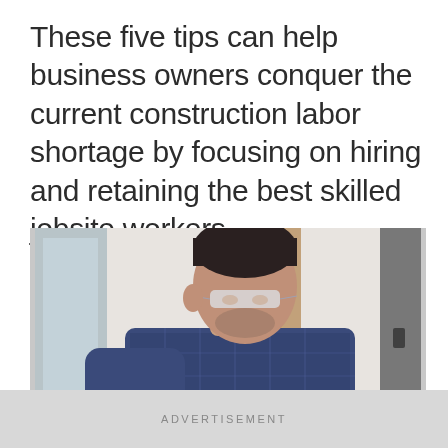These five tips can help business owners conquer the current construction labor shortage by focusing on hiring and retaining the best skilled jobsite workers.
[Figure (photo): A man wearing safety glasses and a blue plaid shirt bending over and working at a construction jobsite interior with white walls and wooden framing visible in the background.]
ADVERTISEMENT